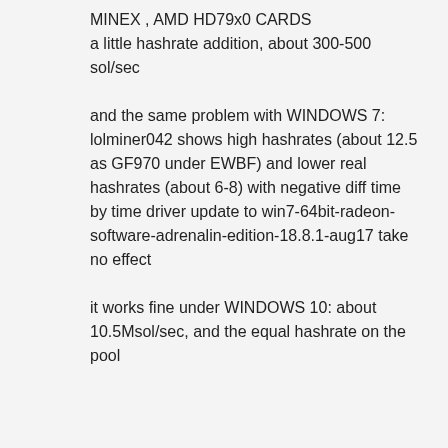MINEX , AMD HD79x0 CARDS
a little hashrate addition, about 300-500 sol/sec

and the same problem with WINDOWS 7: lolminer042 shows high hashrates (about 12.5 as GF970 under EWBF) and lower real hashrates (about 6-8) with negative diff time by time driver update to win7-64bit-radeon-software-adrenalin-edition-18.8.1-aug17 take no effect

it works fine under WINDOWS 10: about 10.5Msol/sec, and the equal hashrate on the pool
Lolliedieb
Member
Activity: 432
Merit: 45
Re: [ANN] lolMiner 0.42, Update: Aug 17th: Better AMD performance for Equi 144/5
#164
August 19, 2018, 04:17:59 PM
Quote from: andrewpuzoff on August 19, 2018, 01:03:29 PM
MINEX , AMD HD79x0 CARDS
a little hashrate addition, about 300-500 sol/sec

and the same problem with WINDOWS 7: lolminer042 shows high hashrates (about 12.5 as GF970 under EWBF) and lower real hashrates (about 6-8) with negative diff time by time
driver update to win7-64bit-radeon-software-adrenalin-edition-18.8.1-aug17 take no effect